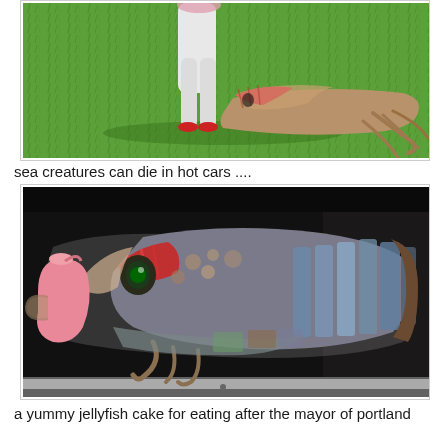[Figure (photo): Partial view of a person in a white squid/sea creature costume lying on green grass, seen from behind/side. Only lower body visible at top of frame.]
sea creatures can die in hot cars ....
[Figure (photo): A large stuffed/costume squid or sea creature (colorful, with red stripes, patterned fabric, large eyes) stuffed into the open trunk of a car. A pink object (jug or bag) is also visible in the trunk.]
a yummy jellyfish cake for eating after the mayor of portland